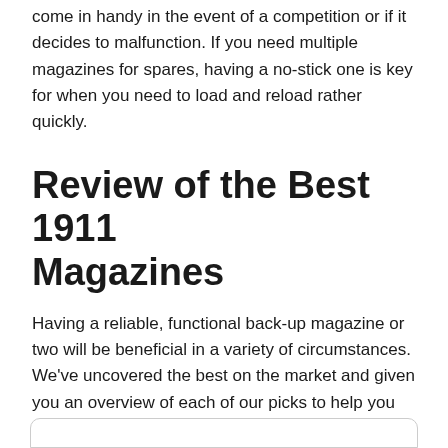come in handy in the event of a competition or if it decides to malfunction. If you need multiple magazines for spares, having a no-stick one is key for when you need to load and reload rather quickly.
Review of the Best 1911 Magazines
Having a reliable, functional back-up magazine or two will be beneficial in a variety of circumstances. We've uncovered the best on the market and given you an overview of each of our picks to help you decide which one is right for you.